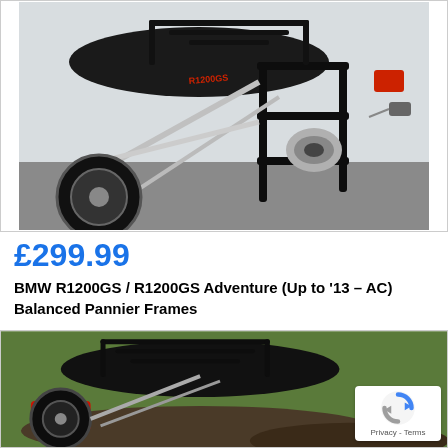[Figure (photo): Close-up photo of a BMW R1200GS motorcycle showing black pannier rack frames mounted on the rear of the bike, with chrome exhaust and motorcycle body visible]
£299.99
BMW R1200GS / R1200GS Adventure (Up to '13 – AC) Balanced Pannier Frames
[Figure (photo): Photo of a BMW R1200GS motorcycle from the side showing a top rack/luggage frame mounted above the rear seat, with grass and mud visible in the background. A reCAPTCHA badge with Privacy and Terms text is overlaid in the bottom right corner.]